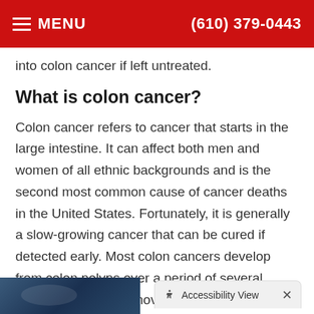MENU  (610) 379-0443
into colon cancer if left untreated.
What is colon cancer?
Colon cancer refers to cancer that starts in the large intestine. It can affect both men and women of all ethnic backgrounds and is the second most common cause of cancer deaths in the United States. Fortunately, it is generally a slow-growing cancer that can be cured if detected early. Most colon cancers develop from colon polyps over a period of several years. Therefore, removing colon polyps reduces the risk for colon cancer. Anal cancer is less common but curable when diagnosed early.
[Figure (photo): Bottom partial image of a medical/colon-related photo]
Accessibility View  ×